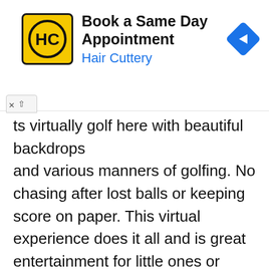[Figure (other): Hair Cuttery advertisement banner. Logo: yellow square with HC letters in black circle. Text: 'Book a Same Day Appointment' in bold black, 'Hair Cuttery' in blue. Blue diamond navigation icon on right. Collapse/close controls at bottom left.]
ts virtually golf here with beautiful backdrops and various manners of golfing. No chasing after lost balls or keeping score on paper. This virtual experience does it all and is great entertainment for little ones or someone going on a date.
Unique Fraser is a guided tour option based out of Pialba. This experience takes guests on a day tour of the nearby Fraser Island. Fraser Island is full of exotic wildlife and beaches to explore.
This touring company gives guests visiting Pialba the opportunity to ride across the waters and visit this